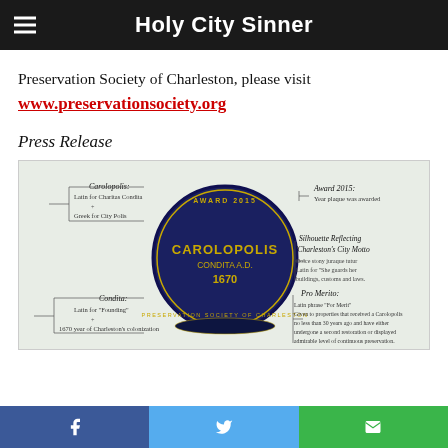Holy City Sinner
Preservation Society of Charleston, please visit
www.preservationsociety.org
Press Release
[Figure (photo): Carolopolis Award 2015 medal from the Preservation Society of Charleston, with annotations explaining: Carolopolis (Latin for Charitas Condita, Greek for City Polis), Condita (Latin for Founding, 1670 year of Charleston's colonization), Award 2015 (Year plaque was awarded), Silhouette Reflecting Charleston's City Motto (Dolce stony juraque tutur, Latin for She guards her buildings, customs and laws), Pro Merito (Latin phrase For Merit, given to properties that received a Carolopolis no less than 30 years ago and have either undergone a second restoration or displayed admirable level of continuous preservation).]